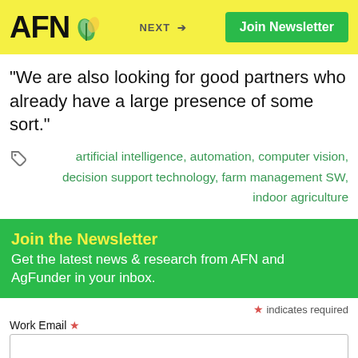AFN | NEXT → | Join Newsletter
“We are also looking for good partners who already have a large presence of some sort.”
artificial intelligence, automation, computer vision, decision support technology, farm management SW, indoor agriculture
Join the Newsletter
Get the latest news & research from AFN and AgFunder in your inbox.
* indicates required
Work Email *